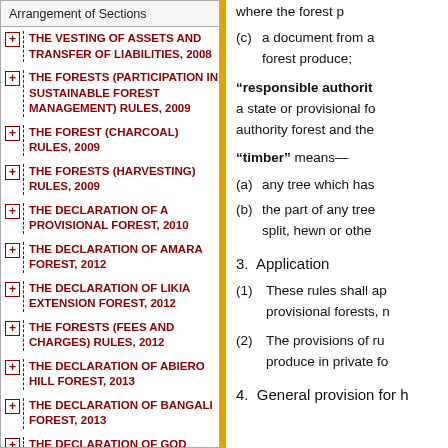Arrangement of Sections
THE VESTING OF ASSETS AND TRANSFER OF LIABILITIES, 2008
THE FORESTS (PARTICIPATION IN SUSTAINABLE FOREST MANAGEMENT) RULES, 2009
THE FOREST (CHARCOAL) RULES, 2009
THE FORESTS (HARVESTING) RULES, 2009
THE DECLARATION OF A PROVISIONAL FOREST, 2010
THE DECLARATION OF AMARA FOREST, 2012
THE DECLARATION OF LIKIA EXTENSION FOREST, 2012
THE FORESTS (FEES AND CHARGES) RULES, 2012
THE DECLARATION OF ABIERO HILL FOREST, 2013
THE DECLARATION OF BANGALI FOREST, 2013
THE DECLARATION OF GOD...
where the forest p...
(c) a document from a... forest produce;
"responsible authority" ... a state or provisional fo... authority forest and the...
"timber" means—
(a) any tree which has...
(b) the part of any tree... split, hewn or othe...
3. Application
(1) These rules shall ap... provisional forests, n...
(2) The provisions of ru... produce in private fo...
4. General provision for h...